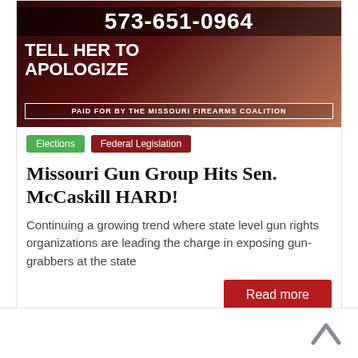[Figure (photo): Advertisement image with dark red background showing a phone number 573-651-0964, text TELL HER TO APOLOGIZE, and PAID FOR BY THE MISSOURI FIREARMS COALITION at the bottom.]
Elections
Federal Legislation
Missouri Gun Group Hits Sen. McCaskill HARD!
Continuing a growing trend where state level gun rights organizations are leading the charge in exposing gun-grabbers at the state
Read more